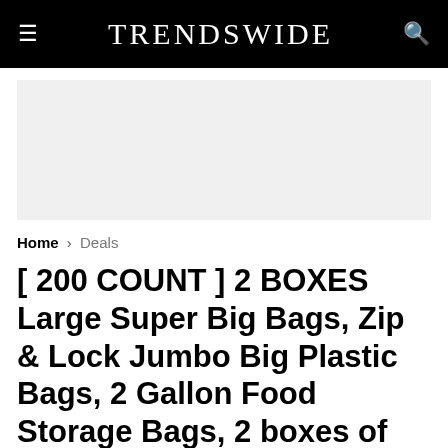TrendsWide
[Figure (other): Advertisement banner placeholder, light grey background]
Home › Deals
[ 200 COUNT ] 2 BOXES Large Super Big Bags, Zip & Lock Jumbo Big Plastic Bags, 2 Gallon Food Storage Bags, 2 boxes of 100 bags total of 200 Count (13”x15”)